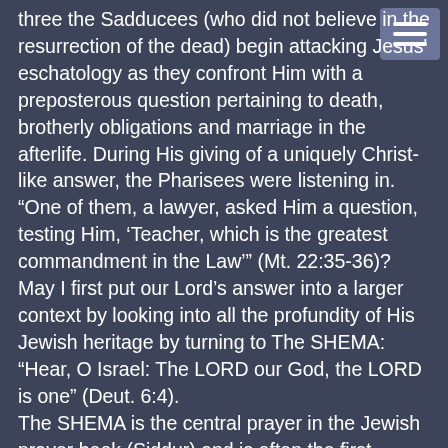three the Sadducees (who did not believe in the resurrection of the dead) begin attacking Jesus' eschatology as they confront Him with a preposterous question pertaining to death, brotherly obligations and marriage in the afterlife. During His giving of a uniquely Christ-like answer, the Pharisees were listening in. “One of them, a lawyer, asked Him a question, testing Him, ‘Teacher, which is the greatest commandment in the Law’” (Mt. 22:35-36)? May I first put our Lord’s answer into a larger context by looking into all the profundity of His Jewish heritage by turning to The SHEMA: “Hear, O Israel: The LORD our God, the LORD is one” (Deut. 6:4). The SHEMA is the central prayer in the Jewish prayer book (Siddur) and is often the first section of Scripture that a Jewish child learns. It sets their perspective on who God is for the rest